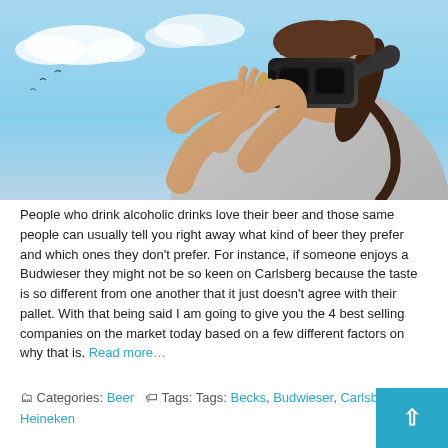[Figure (photo): Woman wearing a VR headset, looking upward with hands raised, against a blue sky with clouds. She wears a grey hoodie and has dark hair in a ponytail.]
People who drink alcoholic drinks love their beer and those same people can usually tell you right away what kind of beer they prefer and which ones they don't prefer. For instance, if someone enjoys a Budwieser they might not be so keen on Carlsberg because the taste is so different from one another that it just doesn't agree with their pallet. With that being said I am going to give you the 4 best selling companies on the market today based on a few different factors on why that is. Read more…
Categories: Beer  Tags: Tags: Becks, Budwieser, Carlsberg, Heineken